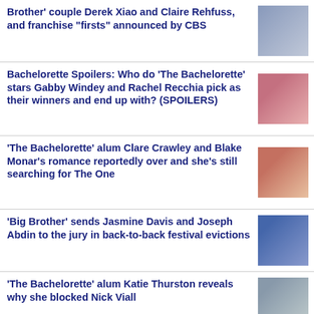Brother' couple Derek Xiao and Claire Rehfuss, and franchise "firsts" announced by CBS
Bachelorette Spoilers: Who do 'The Bachelorette' stars Gabby Windey and Rachel Recchia pick as their winners and end up with? (SPOILERS)
'The Bachelorette' alum Clare Crawley and Blake Monar's romance reportedly over and she's still searching for The One
'Big Brother' sends Jasmine Davis and Joseph Abdin to the jury in back-to-back festival evictions
'The Bachelorette' alum Katie Thurston reveals why she blocked Nick Viall
Erich Schwer: 5 things to know about 'The Bachelorette' bachelor competing for Gabby Windey
'Married at First Sight' recap: Miguel demands Lindy take his surname, Alexis and Justin fight, Morgan won't forgive